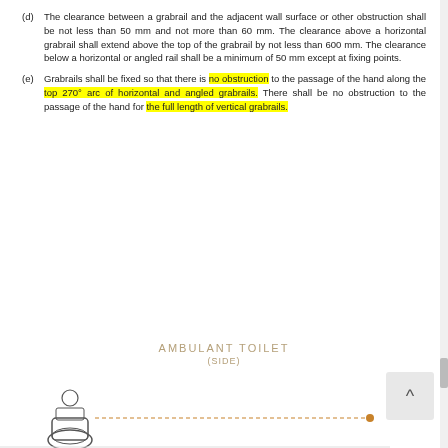(d) The clearance between a grabrail and the adjacent wall surface or other obstruction shall be not less than 50 mm and not more than 60 mm. The clearance above a horizontal grabrail shall extend above the top of the grabrail by not less than 600 mm. The clearance below a horizontal or angled rail shall be a minimum of 50 mm except at fixing points.
(e) Grabrails shall be fixed so that there is no obstruction to the passage of the hand along the top 270° arc of horizontal and angled grabrails. There shall be no obstruction to the passage of the hand for the full length of vertical grabrails.
AMBULANT TOILET
(SIDE)
[Figure (engineering-diagram): Partial view of an ambulant toilet side diagram showing a toilet silhouette and a dotted line indicating a measurement, cut off at the bottom of the page.]